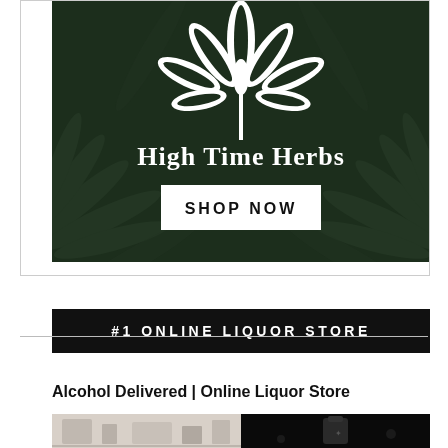[Figure (illustration): High Time Herbs advertisement banner with dark green cannabis leaf background, white cannabis leaf icon, brand name 'High Time Herbs' in white serif font, and a white 'SHOP NOW' button]
#1 ONLINE LIQUOR STORE
Alcohol Delivered | Online Liquor Store
[Figure (photo): Two side-by-side images: left shows a light-colored room/bar setup, right shows a dark background with a bottle or cocktail vessel]